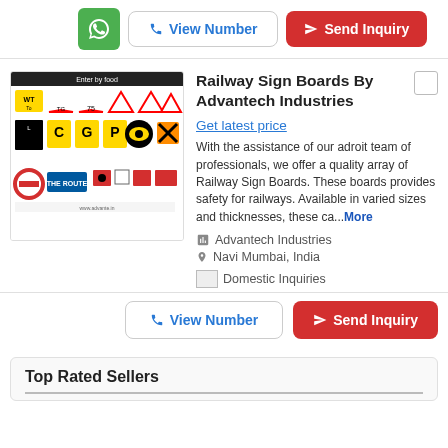[Figure (screenshot): Top action bar with WhatsApp green button, View Number button, and Send Inquiry red button]
[Figure (photo): Railway sign boards product image showing various yellow, red, and black railway signs]
Railway Sign Boards By Advantech Industries
Get latest price
With the assistance of our adroit team of professionals, we offer a quality array of Railway Sign Boards. These boards provides safety for railways. Available in varied sizes and thicknesses, these ca...More
Advantech Industries
Navi Mumbai, India
Domestic Inquiries
[Figure (screenshot): Bottom action bar with View Number and Send Inquiry buttons]
Top Rated Sellers